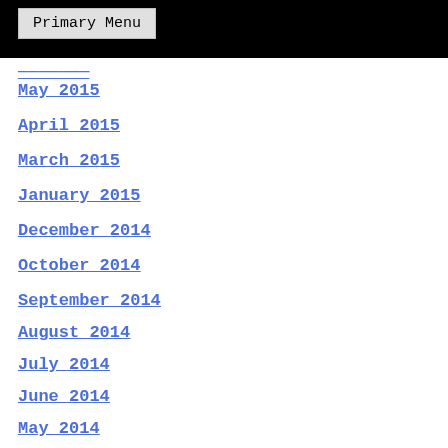Primary Menu
May 2015
April 2015
March 2015
January 2015
December 2014
October 2014
September 2014
August 2014
July 2014
June 2014
May 2014
March 2014
February 2014
January 2014